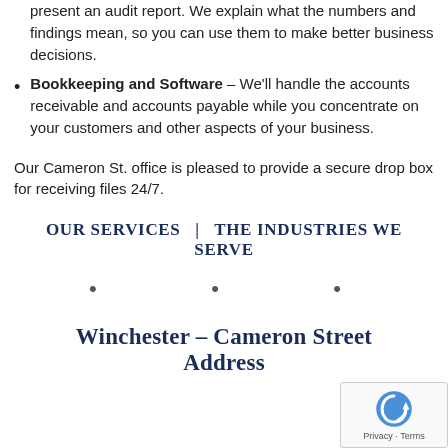present an audit report. We explain what the numbers and findings mean, so you can use them to make better business decisions.
Bookkeeping and Software – We'll handle the accounts receivable and accounts payable while you concentrate on your customers and other aspects of your business.
Our Cameron St. office is pleased to provide a secure drop box for receiving files 24/7.
OUR SERVICES  |  THE INDUSTRIES WE SERVE
· · ·
Winchester – Cameron Street Address